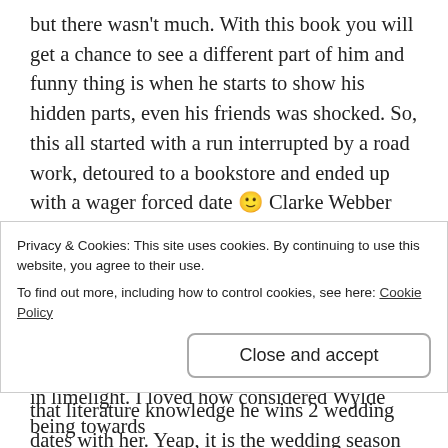but there wasn't much. With this book you will get a chance to see a different part of him and funny thing is when he starts to show his hidden parts, even his friends was shocked. So, this all started with a run interrupted by a road work, detoured to a bookstore and ended up with a wager forced date 🙂 Clarke Webber owns a small bookstore called Clarke's Corner. She is witty, smart and really beautiful. She never thought one morning some jock would come into her store, shamelessly flirt with her and then surprise the hell out of her by his classic literature knowledge. Also, thanks to that literature knowledge he wins 2 wedding dates with her. Yeap, it is the wedding season for Vengeance players. One by one
Privacy & Cookies: This site uses cookies. By continuing to use this website, you agree to their use.
To find out more, including how to control cookies, see here: Cookie Policy
Close and accept
in limelight. I loved how considered Wylde being towards